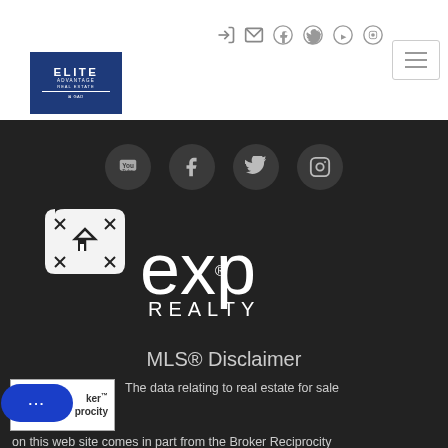[Figure (logo): Elite Advantage Real Estate logo - blue square with white text]
[Figure (infographic): Top navigation social icons: login, email, facebook, twitter, youtube, instagram]
[Figure (infographic): Hamburger menu button (three horizontal lines)]
[Figure (infographic): Dark background section with social icon circles: YouTube, Facebook, Twitter, Instagram]
[Figure (logo): eXp Realty white logo on dark background]
MLS® Disclaimer
[Figure (logo): Broker Reciprocity logo badge with chat button overlay]
The data relating to real estate for sale on this web site comes in part from the Broker Reciprocity